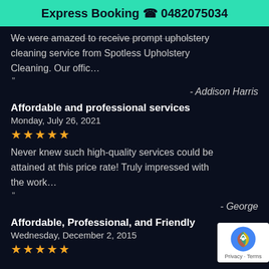Express Booking 📞 0482075034
We were amazed to receive prompt upholstery cleaning service from Spotless Upholstery Cleaning. Our offic…
- Addison Harris
Affordable and professional services
Monday, July 26, 2021
★★★★★
Never knew such high-quality services could be attained at this price rate! Truly impressed with the work…
- George
Affordable, Professional, and Friendly
Wednesday, December 2, 2015
★★★★★